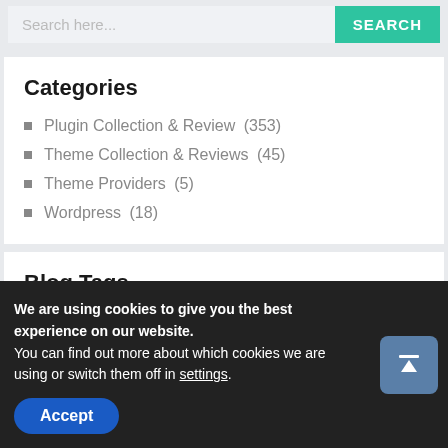[Figure (screenshot): Search bar with placeholder text 'Search here...' and a green SEARCH button]
Categories
Plugin Collection & Review (353)
Theme Collection & Reviews (45)
Theme Providers (5)
Wordpress (18)
Blog Tags
Analytics Author Bio Box backup plugin blog booking
We are using cookies to give you the best experience on our website.
You can find out more about which cookies we are using or switch them off in settings.
Accept